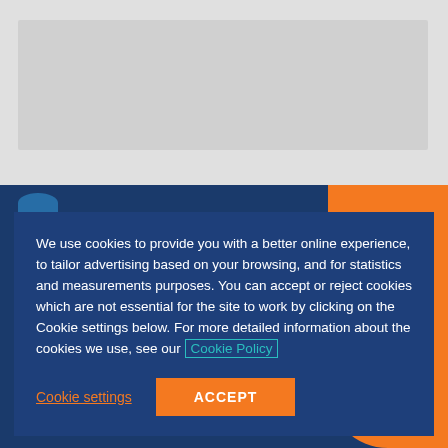[Figure (screenshot): Top grey browser chrome / advertisement banner area with light grey background]
We use cookies to provide you with a better online experience, to tailor advertising based on your browsing, and for statistics and measurements purposes. You can accept or reject cookies which are not essential for the site to work by clicking on the Cookie settings below. For more detailed information about the cookies we use, see our Cookie Policy
Cookie settings
ACCEPT
Questions!
Do you know how to think outside of the box in order to